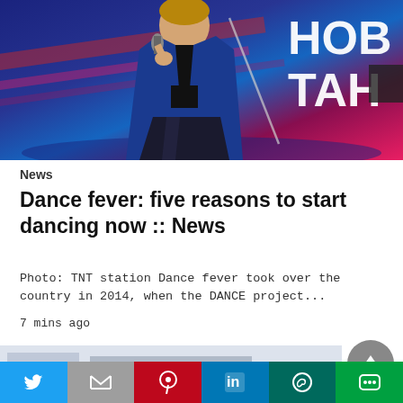[Figure (photo): Woman in blue blazer and black outfit holding a microphone on a TV show stage with Cyrillic text in background (НОВ ТАН). Colorful stage lighting with blue and red/pink hues.]
News
Dance fever: five reasons to start dancing now :: News
Photo: TNT station Dance fever took over the country in 2014, when the DANCE project...
7 mins ago
[Figure (screenshot): Partial thumbnail preview of another article, light blue/grey background]
Twitter | Gmail | Pinterest | LinkedIn | WhatsApp | LINE share buttons